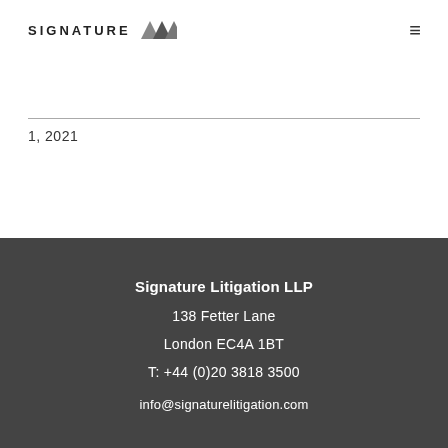SIGNATURE [logo icons]
1, 2021
Signature Litigation LLP
138 Fetter Lane
London EC4A 1BT
T: +44 (0)20 3818 3500
info@signaturelitigation.com